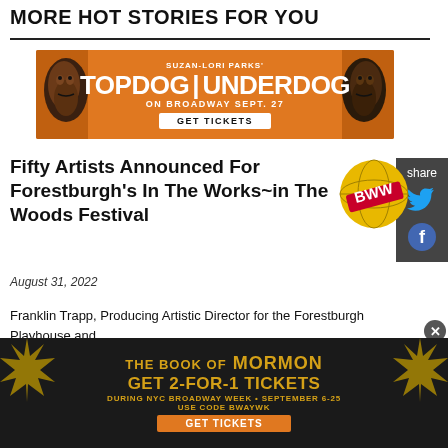MORE HOT STORIES FOR YOU
[Figure (photo): Advertisement banner for Topdog Underdog by Suzan-Lori Parks on Broadway Sept. 27 with GET TICKETS button, orange background, illustrated faces on left and right]
Fifty Artists Announced For Forestburgh's In The Works~in The Woods Festival
August 31, 2022
Franklin Trapp, Producing Artistic Director for the Forestburgh Playhouse and Broadway veteran Matt Lenz, Festival Artistic Director and Director of Crea…
[Figure (logo): BWW BroadwayWorld red circular logo badge]
[Figure (infographic): Share panel with Twitter and Facebook icons on dark grey background]
[Figure (photo): Advertisement for The Book of Mormon: GET 2-FOR-1 TICKETS during NYC Broadway Week September 6-25, use code BWAYWK, GET TICKETS button, dark background with gold starburst decorations]